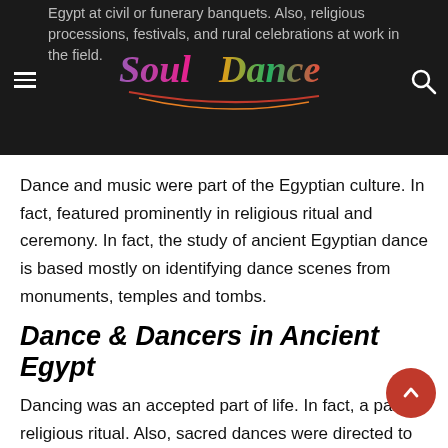Egypt at civil or funerary banquets. Also, religious processions, festivals, and rural celebrations at work in the field.
[Figure (logo): Soul Dance logo with colorful letters and decorative swoosh lines on dark background]
Dance and music were part of the Egyptian culture. In fact, featured prominently in religious ritual and ceremony. In fact, the study of ancient Egyptian dance is based mostly on identifying dance scenes from monuments, temples and tombs.
Dance & Dancers in Ancient Egypt
Dancing was an accepted part of life. In fact, a part of religious ritual. Also, sacred dances were directed to the goddess Hathor. But, also to Isis and Mut particularly. Amun. Also to Min god of